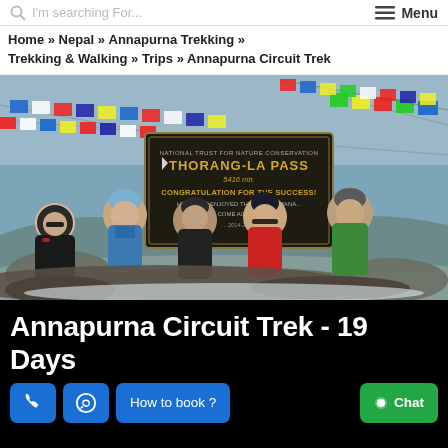I'm searching For... | Menu
Home » Nepal » Annapurna Trekking » Trekking & Walking » Trips » Annapurna Circuit Trek
[Figure (photo): Group of five trekkers posing at Thorang-La Pass sign (5416m) with colorful prayer flags. Sign reads: THORANG-LA PASS 5416 mtr. CONGRATULATION FOR THE SUCCESS! ...]
Annapurna Circuit Trek - 19 Days